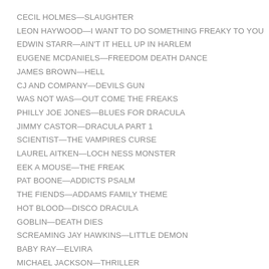CECIL HOLMES—SLAUGHTER
LEON HAYWOOD—I WANT TO DO SOMETHING FREAKY TO YOU
EDWIN STARR—AIN'T IT HELL UP IN HARLEM
EUGENE MCDANIELS—FREEDOM DEATH DANCE
JAMES BROWN—HELL
CJ AND COMPANY—DEVILS GUN
WAS NOT WAS—OUT COME THE FREAKS
PHILLY JOE JONES—BLUES FOR DRACULA
JIMMY CASTOR—DRACULA PART 1
SCIENTIST—THE VAMPIRES CURSE
LAUREL AITKEN—LOCH NESS MONSTER
EEK A MOUSE—THE FREAK
PAT BOONE—ADDICTS PSALM
THE FIENDS—ADDAMS FAMILY THEME
HOT BLOOD—DISCO DRACULA
GOBLIN—DEATH DIES
SCREAMING JAY HAWKINS—LITTLE DEMON
BABY RAY—ELVIRA
MICHAEL JACKSON—THRILLER
RED LIPSTIQUE—DRAC'S BACK
YVONNE GAGE—DOING IT IN THE HAUNTED HOUSE
LES BAXTER—DEVIL'S WITCHCRAFT